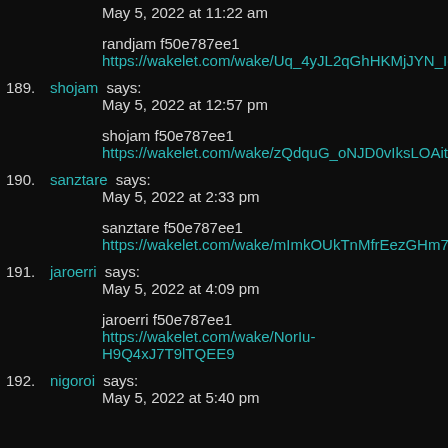May 5, 2022 at 11:22 am
randjam f50e787ee1
https://wakelet.com/wake/Uq_4yJL2qGhHKMjJYN_Io
189. shojam says: May 5, 2022 at 12:57 pm
shojam f50e787ee1
https://wakelet.com/wake/zQdquG_oNJD0vIksLOAit
190. sanztare says: May 5, 2022 at 2:33 pm
sanztare f50e787ee1
https://wakelet.com/wake/mImkOUkTnMfrEezGHm7T0
191. jaroerri says: May 5, 2022 at 4:09 pm
jaroerri f50e787ee1 https://wakelet.com/wake/NorIu-H9Q4xJ7T9lTQEE9
192. nigoroi says: May 5, 2022 at 5:40 pm